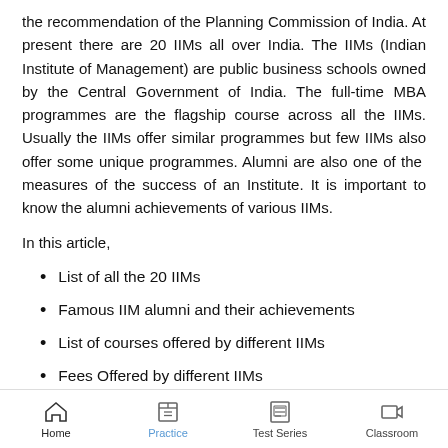the recommendation of the Planning Commission of India. At present there are 20 IIMs all over India. The IIMs (Indian Institute of Management) are public business schools owned by the Central Government of India. The full-time MBA programmes are the flagship course across all the IIMs. Usually the IIMs offer similar programmes but few IIMs also offer some unique programmes. Alumni are also one of the measures of the success of an Institute. It is important to know the alumni achievements of various IIMs.
In this article,
List of all the 20 IIMs
Famous IIM alumni and their achievements
List of courses offered by different IIMs
Fees Offered by different IIMs
Home  Practice  Test Series  Classroom